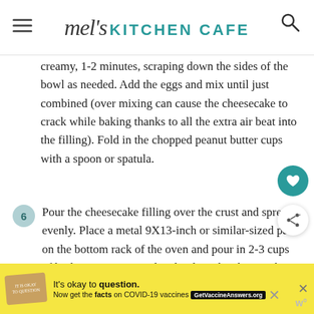mel's KITCHEN CAFE
creamy, 1-2 minutes, scraping down the sides of the bowl as needed. Add the eggs and mix until just combined (over mixing can cause the cheesecake to crack while baking thanks to all the extra air beat into the filling). Fold in the chopped peanut butter cups with a spoon or spatula.
6. Pour the cheesecake filling over the crust and spread evenly. Place a metal 9X13-inch or similar-sized pan on the bottom rack of the oven and pour in 2-3 cups of boiling water. Immediately place the cheesecake on the upper rack and bake for 50-65 minutes until the cheesecake is set around the edges. A slight jiggle in the center
It's okay to question. Now get the facts on COVID-19 vaccines GetVaccineAnswers.org